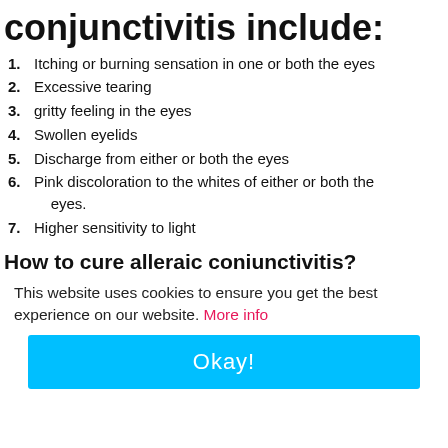conjunctivitis include:
Itching or burning sensation in one or both the eyes
Excessive tearing
gritty feeling in the eyes
Swollen eyelids
Discharge from either or both the eyes
Pink discoloration to the whites of either or both the eyes.
Higher sensitivity to light
How to cure alleraic coniunctivitis?
This website uses cookies to ensure you get the best experience on our website. More info
Okay!